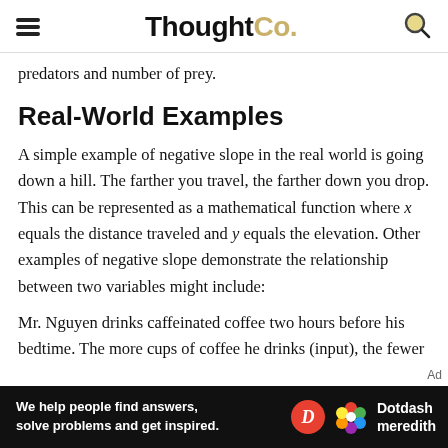ThoughtCo.
predators and number of prey.
Real-World Examples
A simple example of negative slope in the real world is going down a hill. The farther you travel, the farther down you drop. This can be represented as a mathematical function where x equals the distance traveled and y equals the elevation. Other examples of negative slope demonstrate the relationship between two variables might include:
Mr. Nguyen drinks caffeinated coffee two hours before his bedtime. The more cups of coffee he drinks (input), the fewer
[Figure (screenshot): Dotdash Meredith advertisement banner with text: We help people find answers, solve problems and get inspired.]